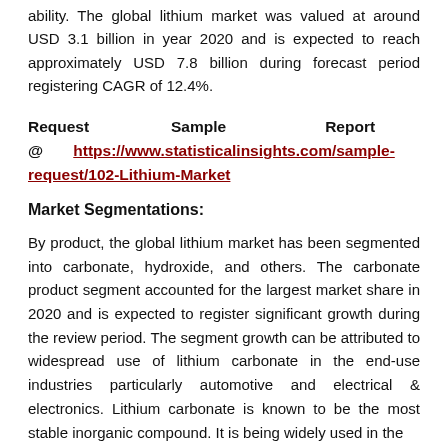ability. The global lithium market was valued at around USD 3.1 billion in year 2020 and is expected to reach approximately USD 7.8 billion during forecast period registering CAGR of 12.4%.
Request Sample Report @ https://www.statisticalinsights.com/sample-request/102-Lithium-Market
Market Segmentations:
By product, the global lithium market has been segmented into carbonate, hydroxide, and others. The carbonate product segment accounted for the largest market share in 2020 and is expected to register significant growth during the review period. The segment growth can be attributed to widespread use of lithium carbonate in the end-use industries particularly automotive and electrical & electronics. Lithium carbonate is known to be the most stable inorganic compound. It is being widely used in the